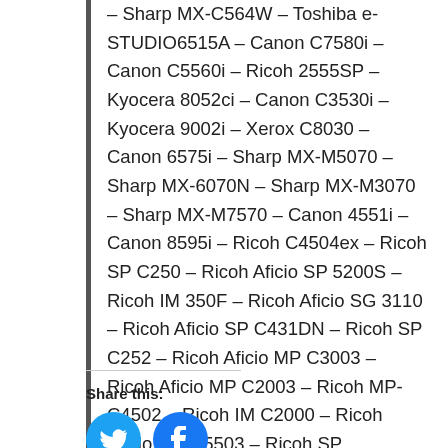– Sharp MX-C564W – Toshiba e-STUDIO6515A – Canon C7580i – Canon C5560i – Ricoh 2555SP – Kyocera 8052ci – Canon C3530i – Kyocera 9002i – Xerox C8030 – Canon 6575i – Sharp MX-M5070 – Sharp MX-6070N – Sharp MX-M3070 – Sharp MX-M7570 – Canon 4551i – Canon 8595i – Ricoh C4504ex – Ricoh SP C250 – Ricoh Aficio SP 5200S – Ricoh IM 350F – Ricoh Aficio SG 3110 – Ricoh Aficio SP C431DN – Ricoh SP C252 – Ricoh Aficio MP C3003 – Ricoh Aficio MP C2003 – Ricoh MP-C4502 – Ricoh IM C2000 – Ricoh Aficio MP C5503 – Ricoh SP C360SFNw – Ricoh Aficio SP 4510SF – Ricoh Mp C307 – Ricoh MP-C2503
Share this: